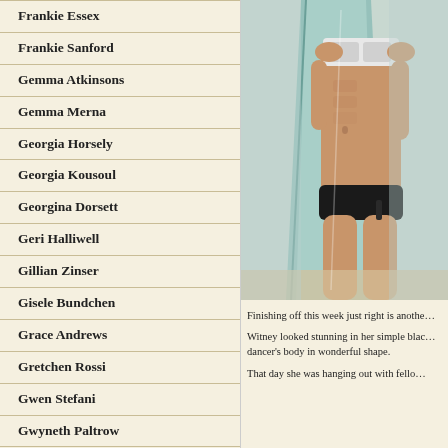Frankie Essex
Frankie Sanford
Gemma Atkinsons
Gemma Merna
Georgia Horsely
Georgia Kousoul
Georgina Dorsett
Geri Halliwell
Gillian Zinser
Gisele Bundchen
Grace Andrews
Gretchen Rossi
Gwen Stefani
Gwyneth Paltrow
Hailey Baldwin
Halle Berry
[Figure (photo): Woman in black and white bikini carrying a surfboard at the beach, showing athletic torso and legs]
Finishing off this week just right is anothe…
Witney looked stunning in her simple blac… dancer's body in wonderful shape.
That day she was hanging out with fello…